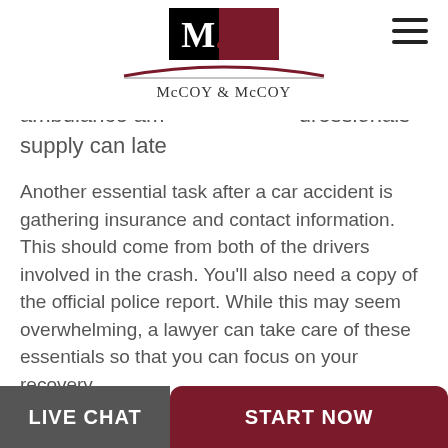McCoy & McCoy logo and navigation
ambulance am… uressionals supply can late
Another essential task after a car accident is gathering insurance and contact information. This should come from both of the drivers involved in the crash. You’ll also need a copy of the official police report. While this may seem overwhelming, a lawyer can take care of these essentials so that you can focus on your recovery.
It’s important to contact a trusted car accident law firm early on. Even a short chat can make you feel less anxious. After you’ve consulted with the CT car accident lawyers of McCoy & McCoy, you’ll find it easier to move forward with your case Claim
LIVE CHAT   START NOW